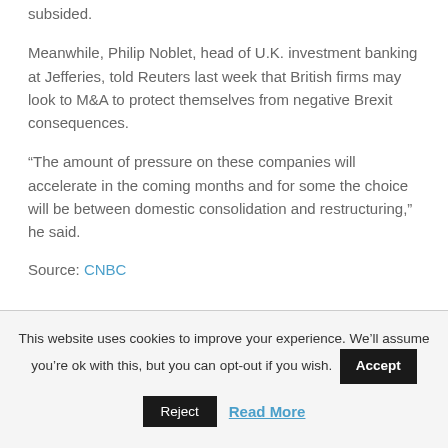subsided.
Meanwhile, Philip Noblet, head of U.K. investment banking at Jefferies, told Reuters last week that British firms may look to M&A to protect themselves from negative Brexit consequences.
“The amount of pressure on these companies will accelerate in the coming months and for some the choice will be between domestic consolidation and restructuring,” he said.
Source: CNBC
This website uses cookies to improve your experience. We’ll assume you’re ok with this, but you can opt-out if you wish. Accept Reject Read More